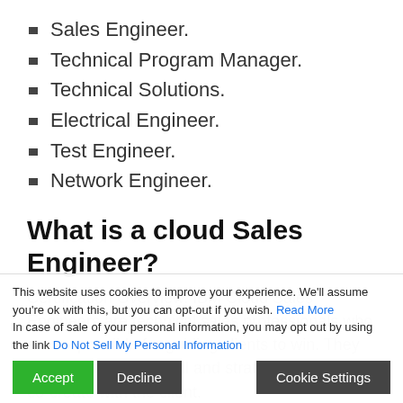Sales Engineer.
Technical Program Manager.
Technical Solutions.
Electrical Engineer.
Test Engineer.
Network Engineer.
What is a cloud Sales Engineer?
Certification Overview. IBM Cloud Sales Engineers are technical sales professionals who are responsible for guiding clients to win. They use both technical skill and strategic vision to co-create with the client.
This website uses cookies to improve your experience. We'll assume you're ok with this, but you can opt-out if you wish. Read More
In case of sale of your personal information, you may opt out by using the link Do Not Sell My Personal Information